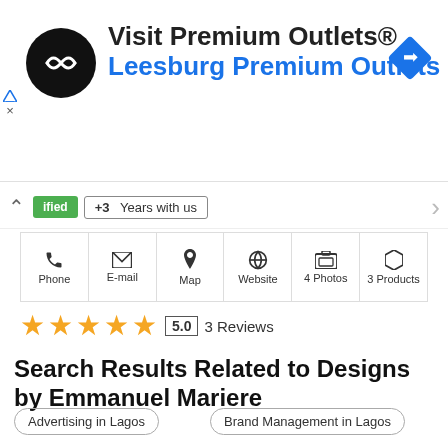[Figure (screenshot): Ad banner for Visit Premium Outlets® - Leesburg Premium Outlets with logo and navigation icon]
ified  +3  Years with us
Phone  E-mail  Map  Website  4 Photos  3 Products
★★★★★  5.0  3 Reviews
Search Results Related to Designs by Emmanuel Mariere
Advertising in Lagos
Brand Management in Lagos
Graphic Design in Lagos
Logo Design in Lagos
Arts and Crafts in Lagos
Digital Art in Lagos